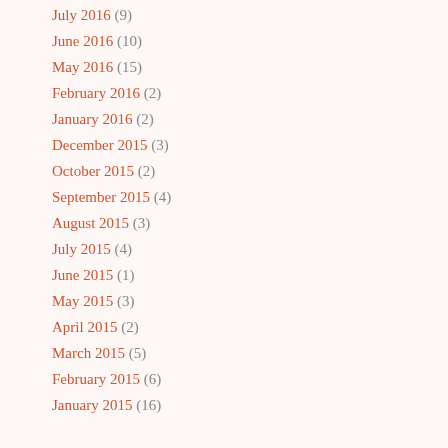July 2016 (9)
June 2016 (10)
May 2016 (15)
February 2016 (2)
January 2016 (2)
December 2015 (3)
October 2015 (2)
September 2015 (4)
August 2015 (3)
July 2015 (4)
June 2015 (1)
May 2015 (3)
April 2015 (2)
March 2015 (5)
February 2015 (6)
January 2015 (16)